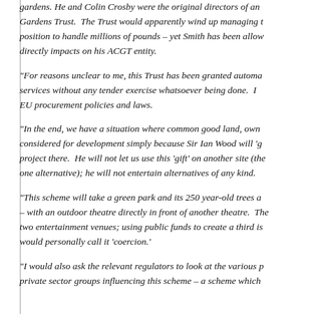gardens. He and Colin Crosby were the original directors of an... Gardens Trust. The Trust would apparently wind up managing t... position to handle millions of pounds – yet Smith has been allow... directly impacts on his ACGT entity.
“For reasons unclear to me, this Trust has been granted automa... services without any tender exercise whatsoever being done. I... EU procurement policies and laws.
“In the end, we have a situation where common good land, own... considered for development simply because Sir Ian Wood will ‘g... project there. He will not let us use this ‘gift’ on another site (the... one alternative); he will not entertain alternatives of any kind.
“This scheme will take a green park and its 250 year-old trees a... – with an outdoor theatre directly in front of another theatre. The... two entertainment venues; using public funds to create a third is... would personally call it ‘coercion.’
“I would also ask the relevant regulators to look at the various p... private sector groups influencing this scheme – a scheme which...